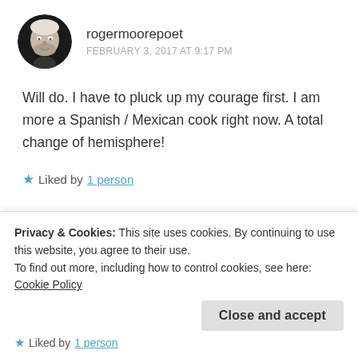[Figure (photo): Circular avatar photo of a man (rogermoorepoet) in black and white]
rogermoorepoet
FEBRUARY 3, 2017 AT 9:17 PM
Will do. I have to pluck up my courage first. I am more a Spanish / Mexican cook right now. A total change of hemisphere!
★ Liked by 1 person
Privacy & Cookies: This site uses cookies. By continuing to use this website, you agree to their use.
To find out more, including how to control cookies, see here: Cookie Policy
Close and accept
★ Liked by 1 person